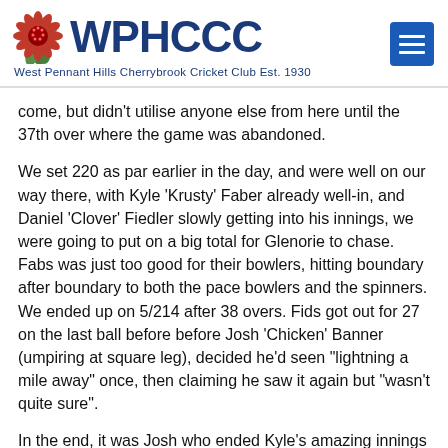WPHCCC West Pennant Hills Cherrybrook Cricket Club Est. 1930
come, but didn't utilise anyone else from here until the 37th over where the game was abandoned.
We set 220 as par earlier in the day, and were well on our way there, with Kyle 'Krusty' Faber already well-in, and Daniel 'Clover' Fiedler slowly getting into his innings, we were going to put on a big total for Glenorie to chase. Fabs was just too good for their bowlers, hitting boundary after boundary to both the pace bowlers and the spinners. We ended up on 5/214 after 38 overs. Fids got out for 27 on the last ball before before Josh 'Chicken' Banner (umpiring at square leg), decided he'd seen "lightning a mile away" once, then claiming he saw it again but "wasn't quite sure".
In the end, it was Josh who ended Kyle's amazing innings…